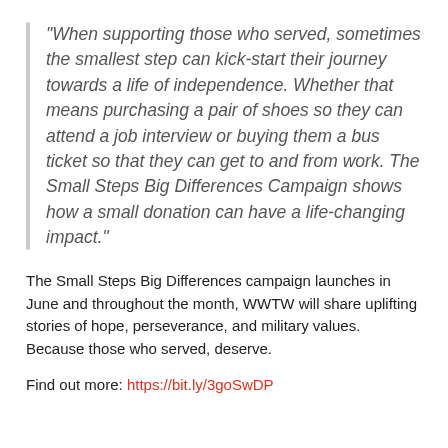“When supporting those who served, sometimes the smallest step can kick-start their journey towards a life of independence. Whether that means purchasing a pair of shoes so they can attend a job interview or buying them a bus ticket so that they can get to and from work. The Small Steps Big Differences Campaign shows how a small donation can have a life-changing impact.”
The Small Steps Big Differences campaign launches in June and throughout the month, WWTW will share uplifting stories of hope, perseverance, and military values. Because those who served, deserve.
Find out more: https://bit.ly/3goSwDP